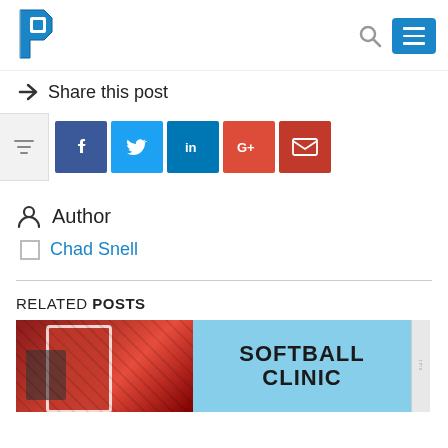[Figure (logo): Blue stylized P logo for Prep sports website]
Share this post
[Figure (infographic): Social share buttons: Facebook, Twitter, LinkedIn, Google+, Email]
Author
Chad Snell
RELATED POSTS
[Figure (photo): Photo of softball players and softball clinic graphic]